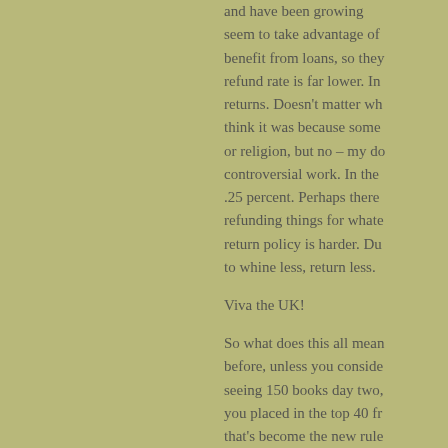and have been growing... seem to take advantage of... benefit from loans, so they... refund rate is far lower. In... returns. Doesn't matter wh... think it was because some... or religion, but no – my do... controversial work. In the... .25 percent. Perhaps there... refunding things for whate... return policy is harder. Du... to whine less, return less.
Viva the UK!
So what does this all mean... before, unless you conside... seeing 150 books day two,... you placed in the top 40 fr... that's become the new rule... sales due to the heightene... I do think the negative is t... the fringe crowd that w...